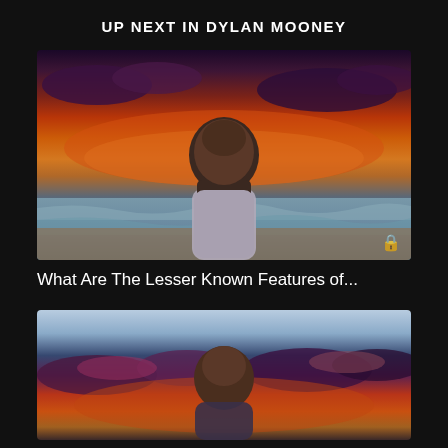UP NEXT IN DYLAN MOONEY
[Figure (screenshot): Video thumbnail showing a man speaking in front of a sunset beach background with dramatic orange and purple sky, lock icon in bottom right corner.]
What Are The Lesser Known Features of...
[Figure (screenshot): Second video thumbnail showing the same man in front of a dramatic cloudy sunset sky with purple and orange tones.]